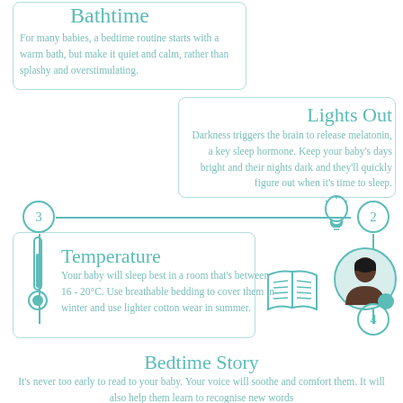Bathtime
For many babies, a bedtime routine starts with a warm bath, but make it quiet and calm, rather than splashy and overstimulating.
Lights Out
Darkness triggers the brain to release melatonin, a key sleep hormone. Keep your baby's days bright and their nights dark and they'll quickly figure out when it's time to sleep.
[Figure (infographic): Infographic timeline with numbered steps (3, 2, 4), icons for lightbulb, thermometer, book, and a photo of a person in a circle]
Temperature
Your baby will sleep best in a room that's between 16 - 20°C. Use breathable bedding to cover them in winter and use lighter cotton wear in summer.
Bedtime Story
It's never too early to read to your baby. Your voice will soothe and comfort them. It will also help them learn to recognise new words